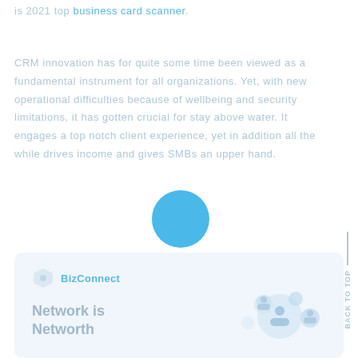is 2021 top business card scanner.
CRM innovation has for quite some time been viewed as a fundamental instrument for all organizations. Yet, with new operational difficulties because of wellbeing and security limitations, it has gotten crucial for stay above water. It engages a top notch client experience, yet in addition all the while drives income and gives SMBs an upper hand.
[Figure (illustration): Blue circle overlay on text, decorative UI element]
[Figure (screenshot): BizConnect app card showing logo, tagline 'Network is Networth', and a network illustration with user avatars]